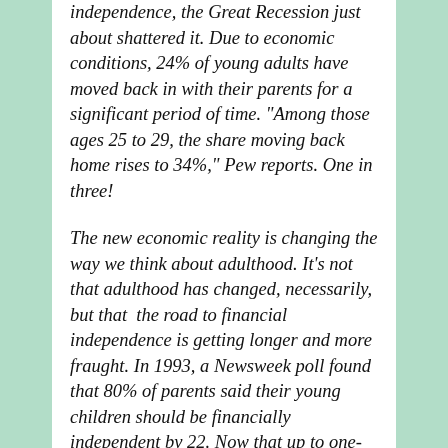independence, the Great Recession just about shattered it. Due to economic conditions, 24% of young adults have moved back in with their parents for a significant period of time. "Among those ages 25 to 29, the share moving back home rises to 34%," Pew reports. One in three!
The new economic reality is changing the way we think about adulthood. It's not that adulthood has changed, necessarily, but that  the road to financial independence is getting longer and more fraught. In 1993, a Newsweek poll found that 80% of parents said their young children should be financially independent by 22. Now that up to one-third of those very same parents are still living with their kids, one-third of today's parents say children "shouldn't have to be on their own financially until age 25 or later."